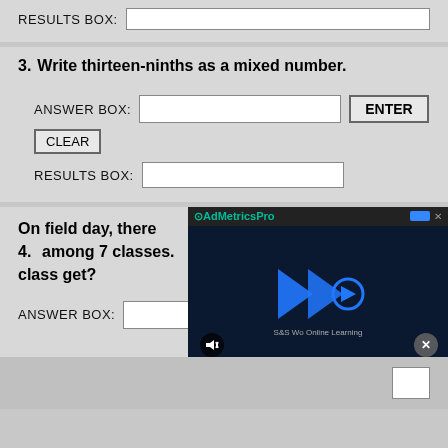RESULTS BOX:
3. Write thirteen-ninths as a mixed number.
ANSWER BOX:
RESULTS BOX:
4. On field day, there among 7 classes. class get?
ANSWER BOX:
[Figure (screenshot): AdMetricsPro video ad overlay with blue arrow play button animation and mute/close controls]